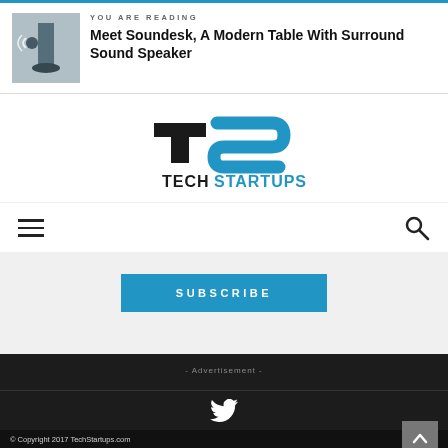YOU ARE READING
Meet Soundesk, A Modern Table With Surround Sound Speaker
[Figure (logo): Tech Startups logo with TS monogram in blue and black, text TECH STARTUPS below]
SUBSCRIBE
- Advertisement -
[Figure (illustration): Twitter bird icon in white]
© Copyright 2017 TechStartups.com